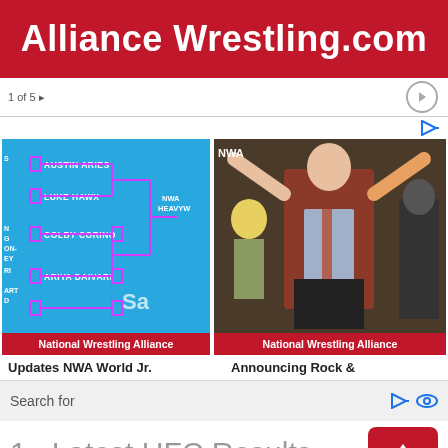Alliance Wrestling.com
[Figure (other): Tournament bracket on cyan background showing AUSTIN ARIES, LUKE HAWX, COLBY CORINO, ARIYA DAIVARI with NWA HEAVYW text and pink bracket lines. National Wrestling Alliance red banner at bottom.]
[Figure (photo): Photo of man in red/brown jacket with arms raised at wrestling event. National Wrestling Alliance red banner at bottom.]
Updates NWA World Jr.
Announcing Rock &
Search for
1.  Latest UFC Results